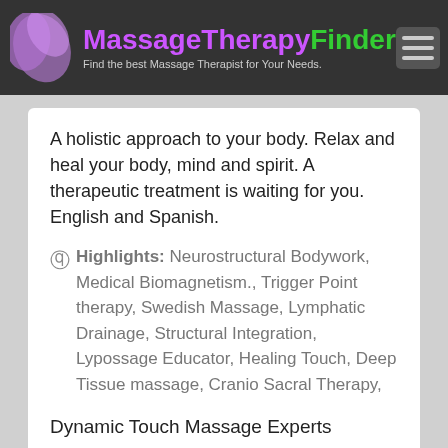MassageTherapyFinder — Find the best Massage Therapist for Your Needs.
A holistic approach to your body. Relax and heal your body, mind and spirit. A therapeutic treatment is waiting for you. English and Spanish.
Highlights: Neurostructural Bodywork, Medical Biomagnetism., Trigger Point therapy, Swedish Massage, Lymphatic Drainage, Structural Integration, Lypossage Educator, Healing Touch, Deep Tissue massage, Cranio Sacral Therapy, Therapeutic Touch, Oriental Bodywork, Credit Card, Pregnancy Massage, Structural Relief, Hot Stone Therapy, Myofascial Massage, Somato Emotional Release, Pressure Point Therapy, Cash
Dynamic Touch Massage Experts